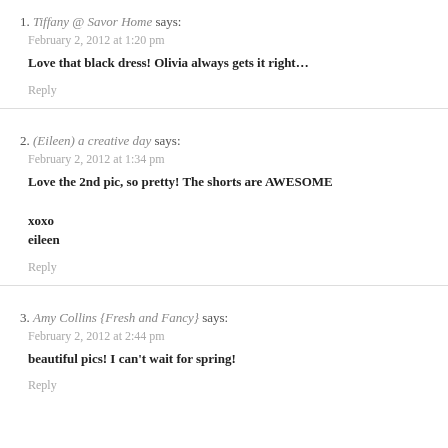1. Tiffany @ Savor Home says:
February 2, 2012 at 1:20 pm
Love that black dress! Olivia always gets it right…
Reply
2. (Eileen) a creative day says:
February 2, 2012 at 1:34 pm
Love the 2nd pic, so pretty! The shorts are AWESOME

xoxo
eileen
Reply
3. Amy Collins {Fresh and Fancy} says:
February 2, 2012 at 2:44 pm
beautiful pics! I can't wait for spring!
Reply